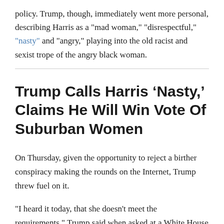policy. Trump, though, immediately went more personal, describing Harris as a "mad woman," "disrespectful," "nasty" and "angry," playing into the old racist and sexist trope of the angry black woman.
Trump Calls Harris ‘Nasty,’ Claims He Will Win Vote Of Suburban Women
On Thursday, given the opportunity to reject a birther conspiracy making the rounds on the Internet, Trump threw fuel on it.
"I heard it today, that she doesn't meet the requirements," Trump said when asked at a White House press briefing